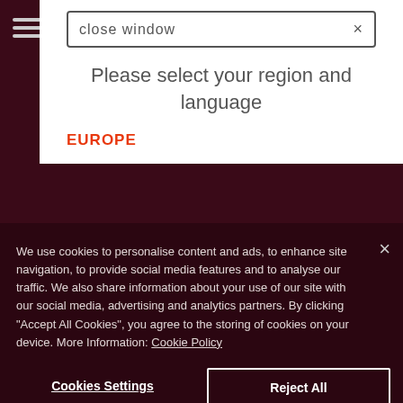[Figure (screenshot): Website navigation bar with hamburger menu, logo, cart/wishlist icons with 0 badges, search icon, and EN language selector with Australian flag]
close window ×
Please select your region and language
EUROPE
We use cookies to personalise content and ads, to enhance site navigation, to provide social media features and to analyse our traffic. We also share information about your use of our site with our social media, advertising and analytics partners. By clicking "Accept All Cookies", you agree to the storing of cookies on your device. More Information: Cookie Policy
Cookies Settings
Reject All
Accept All Cookies